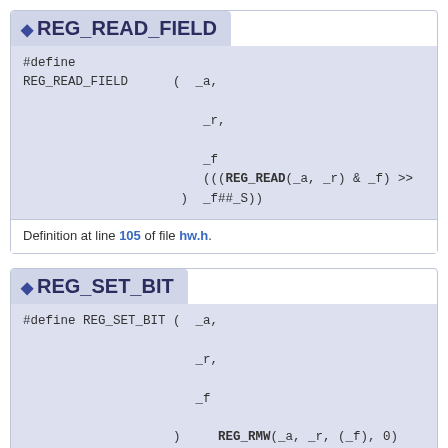REG_READ_FIELD
#define
REG_READ_FIELD ( _a,
                 _r,
                 _f
                 (((REG_READ(_a, _r) & _f) >>
               ) _f##_S))
Definition at line 105 of file hw.h.
REG_SET_BIT
#define REG_SET_BIT ( _a,
                     _r,
                     _f
                  ) REG_RMW(_a, _r, (_f), 0)